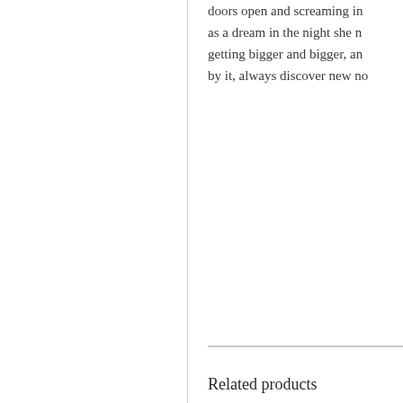doors open and screaming in as a dream in the night she n getting bigger and bigger, an by it, always discover new no
Related products